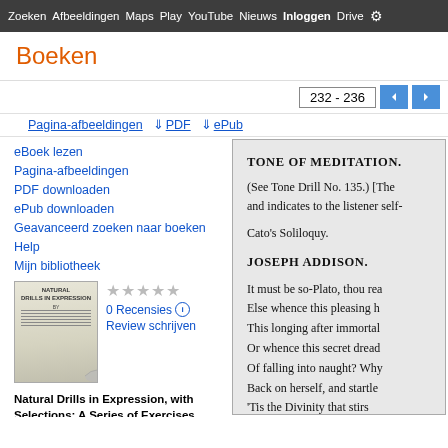Zoeken  Afbeeldingen  Maps  Play  YouTube  Nieuws  Inloggen  Drive  (settings)
Boeken
232 - 236
Pagina-afbeeldingen  PDF  ePub
eBoek lezen
Pagina-afbeeldingen
PDF downloaden
ePub downloaden
Geavanceerd zoeken naar boeken
Help
Mijn bibliotheek
[Figure (illustration): Book cover thumbnail for Natural Drills in Expression with Selections]
0 Recensies
Review schrijven
Natural Drills in Expression, with Selections: A Series of Exercises ...
TONE OF MEDITATION.
(See Tone Drill No. 135.) [The ... and indicates to the listener self-...
Cato's Soliloquy.
JOSEPH ADDISON.
It must be so-Plato, thou rea...
Else whence this pleasing h...
This longing after immortal...
Or whence this secret dread...
Of falling into naught? Why...
Back on herself, and startle...
'Tis the Divinity that stirs...